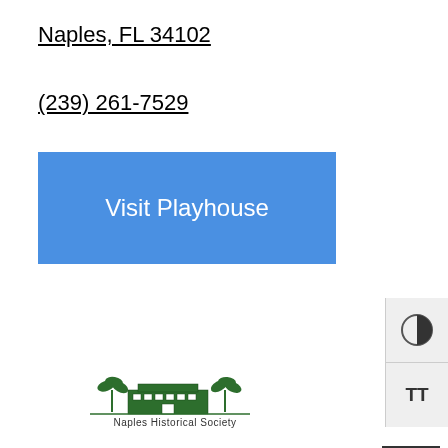Naples, FL 34102
(239) 261-7529
Visit Playhouse
[Figure (logo): Naples Historical Society logo with building and palm trees illustration, text reads 'Naples Historical Society']
NAPLES HISTORICAL SOCIETY AT THE HISTORIC PALM COTTAGE
This historic home was built in 1895 by Walter N.